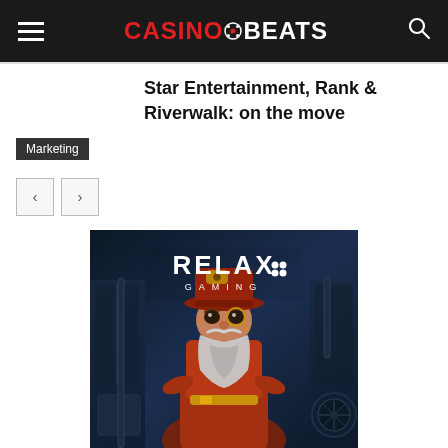CasinoBeats
Star Entertainment, Rank & Riverwalk: on the move
Marketing
[Figure (photo): Relax Gaming branded promotional image featuring a steampunk-styled bearded character in a red coat and wide-brimmed hat with a monocle, set against a dark industrial background with the Relax Gaming logo displayed prominently at the top.]